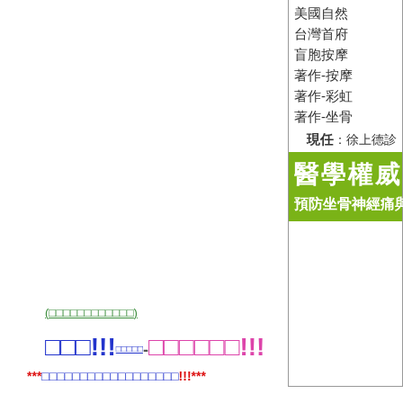美國自然
台灣首府
盲胞按摩
著作-按摩
著作-彩虹
著作-坐骨
現任：徐上德診
醫學權威
預防坐骨神經痛與
(□□□□□□□□□□□□)
□□□!!!小字-□□□□□□!!!
***□□□□□□□□□□□□□□□□□□!!!***